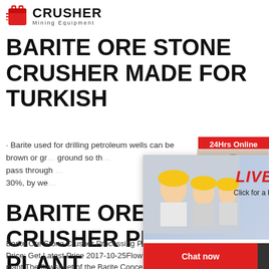[Figure (logo): Crusher Mining Equipment logo with red shopping bag icon and bold CRUSHER text]
BARITE ORE STONE CRUSHER MADE FOR TURKISH
· Barite used for drilling petroleum wells can be brown or gr... ground so th... pass through 30%, by we...
[Figure (screenshot): Live Chat popup overlay with workers in hard hats background, LIVE CHAT heading in red, 'Click for a Free Consultation' subtitle, Chat now and Chat later buttons]
[Figure (screenshot): Right side panel with 24Hrs Online banner, customer service representative photo, Need questions & suggestion? box, Chat Now button, Enquiry section, limingjlmofen@sina.com email]
BARITE ORE STONE CRUSHER PROCESSING PLANT
Barite Ore Stone Crusher Processing Plant. FOB Price: Get Latest Price 2017-10-25Flowsheet of plant.The flowsheet of the Barite Concentrate p... sketched in The reject of the screen-controlled cone crusher